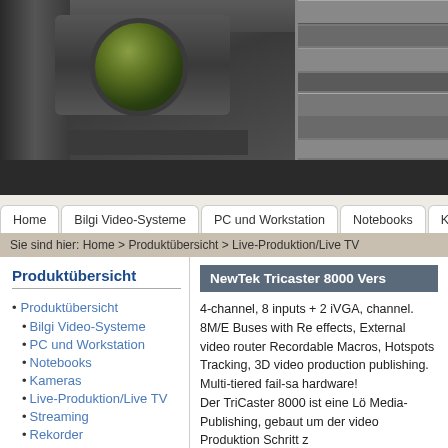[Figure (photo): Website header image showing a professional video camera on the left and rack-mounted broadcast equipment on the right against a dark background]
Home | Bilgi Video-Systeme | PC und Workstation | Notebooks | Kont...
Sie sind hier: Home > Produktübersicht > Live-Produktion/Live TV
Produktübersicht
Produktübersicht
Bilgi Video-Systeme
PC und Workstation
Notebooks
Kameras
Live-Produktion/Live TV
Streaming
Rekorder
Digital Video
NewTek Tricaster 8000 Vers...
4-channel, 8 inputs + 2 iVGA, channel. 8M/E Buses with Re effects, External video router Recordable Macros, Hotspots Tracking, 3D video production publishing. Multi-tiered fail-sa hardware!
Der TriCaster 8000 ist eine Lö Media-Publishing, gebaut um der video Produktion Schritt z